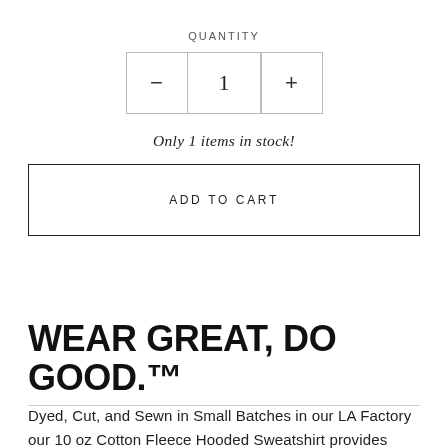QUANTITY
[Figure (other): Quantity selector control with minus button, number 1, and plus button bordered by a rectangle]
Only 1 items in stock!
ADD TO CART
WEAR GREAT, DO GOOD.™
Dyed, Cut, and Sewn in Small Batches in our LA Factory our 10 oz Cotton Fleece Hooded Sweatshirt provides warmth and